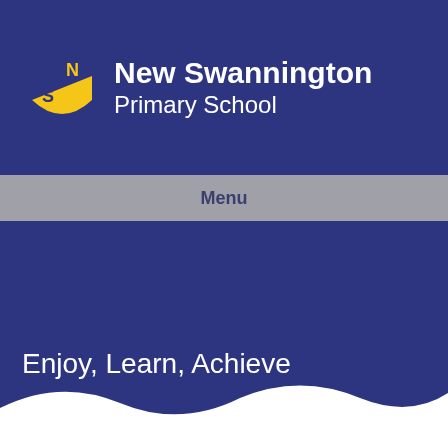[Figure (logo): New Swannington Primary School logo with yellow shield containing NS initials and school name in white text on dark blue header]
New Swannington Primary School
Menu
Enjoy, Learn, Achieve
» What we've all been doing » Our Latest News